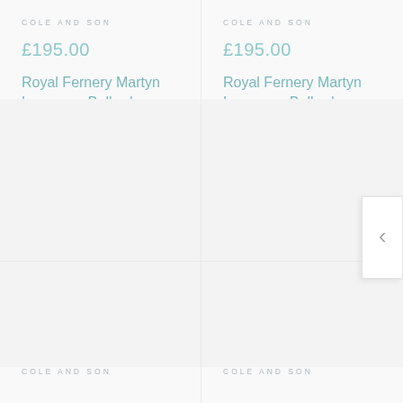COLE AND SON
£195.00
Royal Fernery Martyn Lawrence Bullard Wallpa...
[Figure (photo): Product image placeholder for wallpaper - top left card]
COLE AND SON
£195.00
Royal Fernery Martyn Lawrence Bullard Wallpa...
[Figure (photo): Product image placeholder for wallpaper - top right card]
[Figure (photo): Product image placeholder - bottom left card]
COLE AND SON
[Figure (photo): Product image placeholder - bottom right card]
COLE AND SON